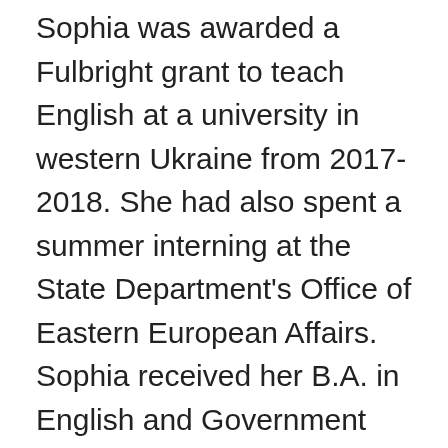Sophia was awarded a Fulbright grant to teach English at a university in western Ukraine from 2017-2018. She had also spent a summer interning at the State Department's Office of Eastern European Affairs. Sophia received her B.A. in English and Government from the College of William & Mary. During her undergraduate studies she spent two terms at the University of Oxford, Hertford College where she studied